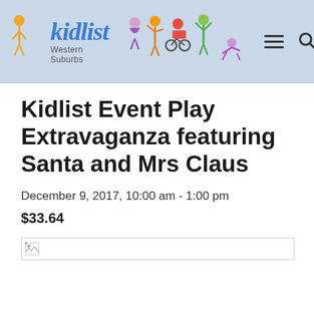kidlist Western Suburbs
Kidlist Event Play Extravaganza featuring Santa and Mrs Claus
December 9, 2017, 10:00 am - 1:00 pm
$33.64
[Figure (photo): Broken image placeholder — a wide rectangular image area with border and broken image icon in top-left corner]
We had so much fun with all of you at our last Kidlist